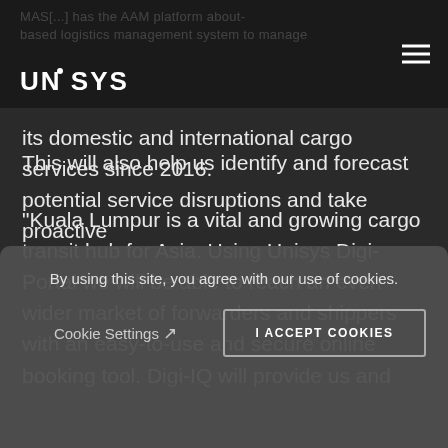UNISYS
MAS[...] has the AAM platform about-based logistics management system to manage its domestic and international cargo services since 2016.
"Kuala Lumpur is a vital and growing cargo transit hub for Asia. Using Unisys Digi-Portal we will be able to reach an even wider market of forwarders and shippers with an easy-to-use and secure online booking tool. Digi-IQ will provide us and
By using this site, you agree with our use of cookies.
Cookie Settings
I ACCEPT COOKIES
This will also help us identify and forecast potential service disruptions and take proactive